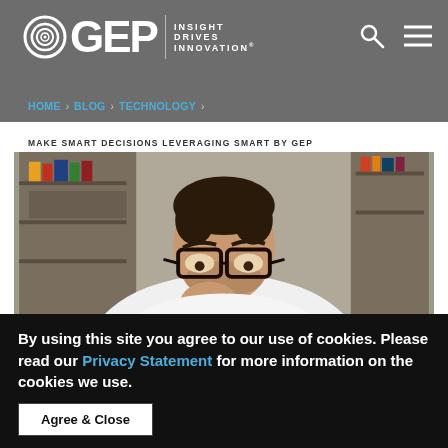GEP INSIGHT DRIVES INNOVATION — HOME > BLOG > TECHNOLOGY
MAKE SMART DECISIONS LEVERAGING SMART BY GEP
[Figure (photo): Man with glasses and white shirt, hand on chin in a thoughtful pose, sitting in a workshop or studio environment with bookshelves and a yellow ladder in the background.]
By using this site you agree to our use of cookies. Please read our Privacy Statement for more information on the cookies we use.
Agree & Close